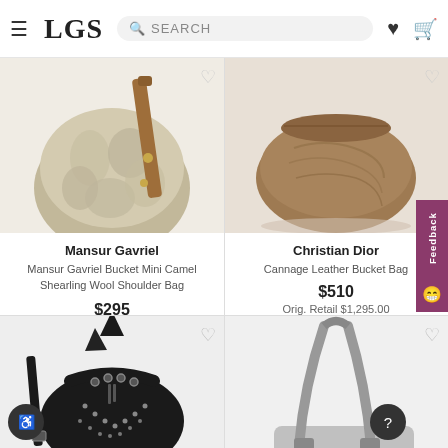LGS SEARCH
[Figure (photo): Mansur Gavriel fur bucket bag with camel leather strap, partially cropped from top]
Mansur Gavriel
Mansur Gavriel Bucket Mini Camel Shearling Wool Shoulder Bag
$295
[Figure (photo): Christian Dior Cannage leather brown bucket bag, partially cropped from top]
Christian Dior
Cannage Leather Bucket Bag
$510
Orig. Retail $1,295.00
[Figure (photo): Black studded bucket bag with silver grommets and drawstring, partially visible]
[Figure (photo): Gray/silver bag handle partially visible at bottom right]